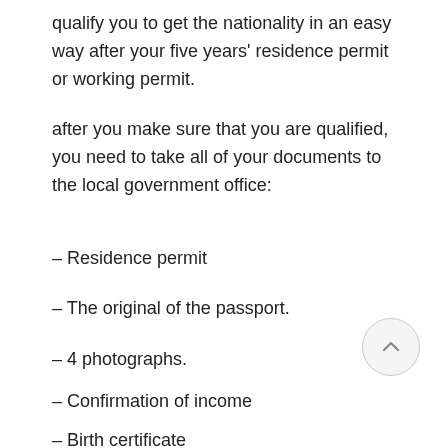qualify you to get the nationality in an easy way after your five years' residence permit or working permit.
after you make sure that you are qualified, you need to take all of your documents to the local government office:
– Residence permit
– The original of the passport.
– 4 photographs.
– Confirmation of income
– Birth certificate